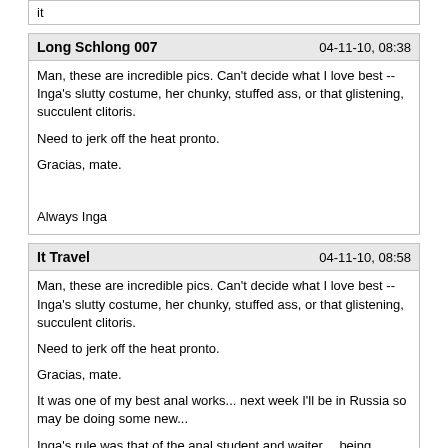it
Long Schlong 007	04-11-10, 08:38
Man, these are incredible pics. Can't decide what I love best -- Inga's slutty costume, her chunky, stuffed ass, or that glistening, succulent clitoris.

Need to jerk off the heat pronto.

Gracias, mate.

Always Inga
It Travel	04-11-10, 08:58
Man, these are incredible pics. Can't decide what I love best -- Inga's slutty costume, her chunky, stuffed ass, or that glistening, succulent clitoris.

Need to jerk off the heat pronto.

Gracias, mate.

It was one of my best anal works... next week I'll be in Russia so may be doing some new...

Inga's rule was that of the anal student and waiter... being humiliated, sodomized, facialized, and taken to several orgasms...

I just post some still unseen photo... of course it's obviously just a game...

Unfortunately this (then 20 y.o.) engineering student is lost forever, they just disappear... a real pity because it would have been lovely to get her around the home plugged with a "tail" plug, a dog leash... and some kinky clothes...

By the way the waiter dress was brought in Posta Lhas in an airport and wall...